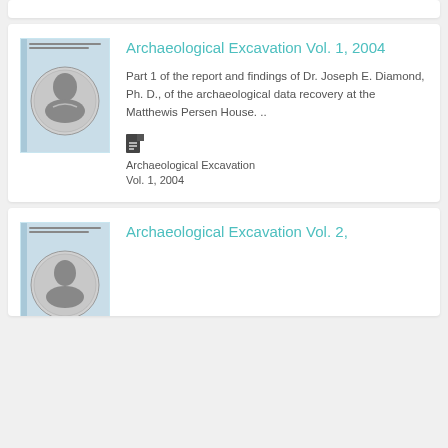Archaeological Excavation Vol. 1, 2004
Part 1 of the report and findings of Dr. Joseph E. Diamond, Ph. D., of the archaeological data recovery at the Matthewis Persen House. ..
Archaeological Excavation Vol. 1, 2004
[Figure (illustration): Book cover image with light blue background featuring a circular medallion portrait illustration]
Archaeological Excavation Vol. 2,
[Figure (illustration): Book cover image with light blue background featuring a circular medallion portrait illustration]